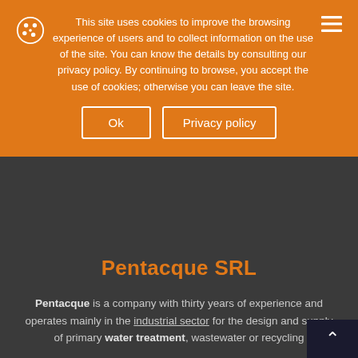This site uses cookies to improve the browsing experience of users and to collect information on the use of the site. You can know the details by consulting our privacy policy. By continuing to browse, you accept the use of cookies; otherwise you can leave the site.
Ok | Privacy policy
Pentacque SRL
Pentacque is a company with thirty years of experience and operates mainly in the industrial sector for the design and supply of primary water treatment, wastewater or recycling systems.